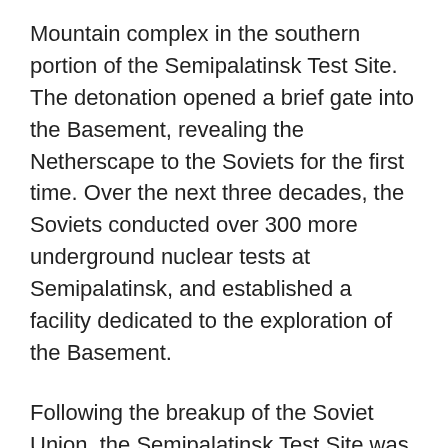Mountain complex in the southern portion of the Semipalatinsk Test Site. The detonation opened a brief gate into the Basement, revealing the Netherscape to the Soviets for the first time. Over the next three decades, the Soviets conducted over 300 more underground nuclear tests at Semipalatinsk, and established a facility dedicated to the exploration of the Basement.
Following the breakup of the Soviet Union, the Semipalatinsk Test Site was left largely unguarded. Transnational mercenary groups with knowledge of the Basement's secrets took the opportunity to loot the facility and set out on their own expeditions. This marked the most extensive period of Basement exploration by non-state actors until the Final War.